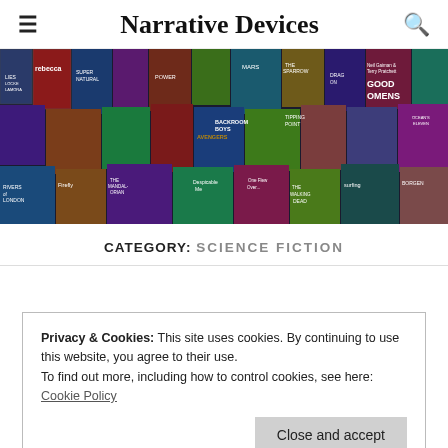Narrative Devices
[Figure (photo): Collage of book covers and movie/TV show posters including titles such as Mars, The Sparrow, Good Omens, Tipping Point, Backroom Boys, Avengers, Rivers of London, Firefly, The Mandalorian, Despicable Me, The Walking Dead, Borgen, Surfer, and many others arranged as a dense mosaic banner.]
CATEGORY: SCIENCE FICTION
Privacy & Cookies: This site uses cookies. By continuing to use this website, you agree to their use.
To find out more, including how to control cookies, see here: Cookie Policy
Close and accept